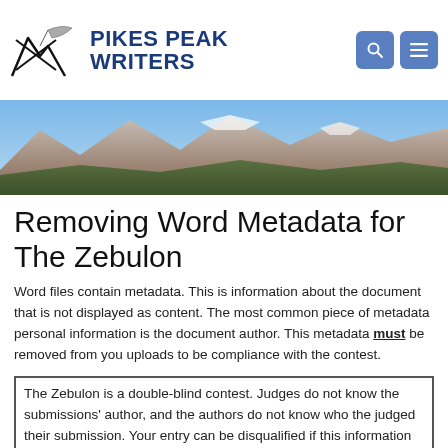PIKES PEAK WRITERS
[Figure (photo): Mountain landscape photo showing Pikes Peak with snow-capped summit under a blue sky]
Removing Word Metadata for The Zebulon
Word files contain metadata. This is information about the document that is not displayed as content. The most common piece of metadata personal information is the document author. This metadata must be removed from you uploads to be compliance with the contest.
The Zebulon is a double-blind contest. Judges do not know the submissions' author, and the authors do not know who the judged their submission. Your entry can be disqualified if this information is inadvertently exposed.